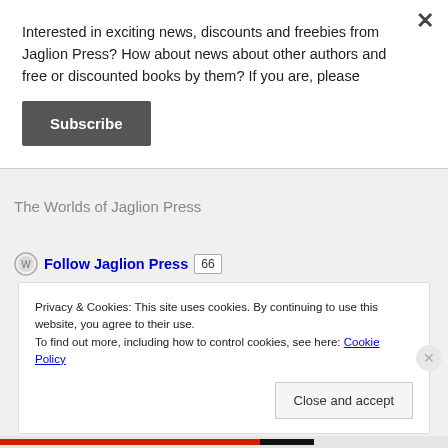Interested in exciting news, discounts and freebies from Jaglion Press? How about news about other authors and free or discounted books by them? If you are, please
Subscribe
The Worlds of Jaglion Press
Follow Jaglion Press 66
Privacy & Cookies: This site uses cookies. By continuing to use this website, you agree to their use.
To find out more, including how to control cookies, see here: Cookie Policy
Close and accept